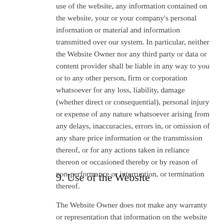use of the website, any information contained on the website, your or your company's personal information or material and information transmitted over our system. In particular, neither the Website Owner nor any third party or data or content provider shall be liable in any way to you or to any other person, firm or corporation whatsoever for any loss, liability, damage (whether direct or consequential), personal injury or expense of any nature whatsoever arising from any delays, inaccuracies, errors in, or omission of any share price information or the transmission thereof, or for any actions taken in reliance thereon or occasioned thereby or by reason of non-performance or interruption, or termination thereof.
9. Use of the Website
The Website Owner does not make any warranty or representation that information on the website is